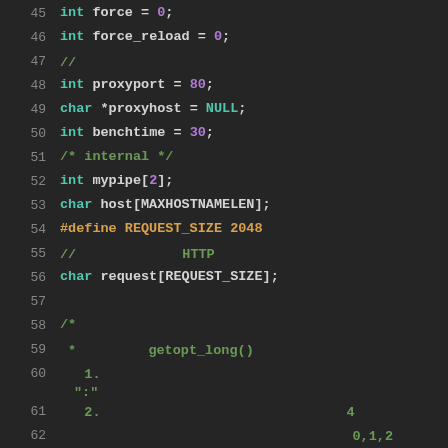[Figure (screenshot): Source code editor screenshot showing C code lines 45–63 with syntax highlighting on a dark background. Lines include variable declarations (int force, force_reload, proxyport, benchtime, int mypipe[2]), char arrays (proxyhost, host, request), a #define macro, and multi-line comments in a non-Latin script (likely Chinese/Japanese) with some code identifiers.]